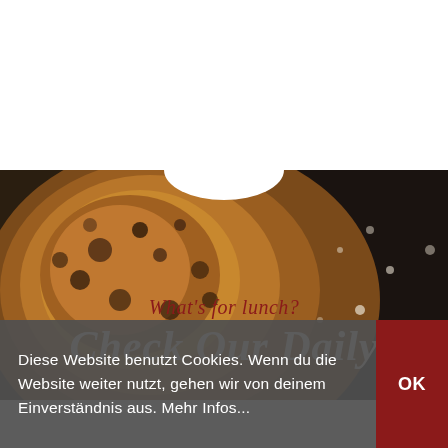[Figure (photo): Top portion showing a dark header bar and white space with a partial circular element — appears to be a website screenshot with a white background and a dark navigation bar at the top.]
[Figure (photo): Background photo of baked bread or pizza on a dark surface with flour, with red cursive text 'What's for lunch?' and white bold italic text 'Check Our Daily' overlaid.]
What's for lunch?
Check Our Daily
Diese Website benutzt Cookies. Wenn du die Website weiter nutzt, gehen wir von deinem Einverständnis aus. Mehr Infos...